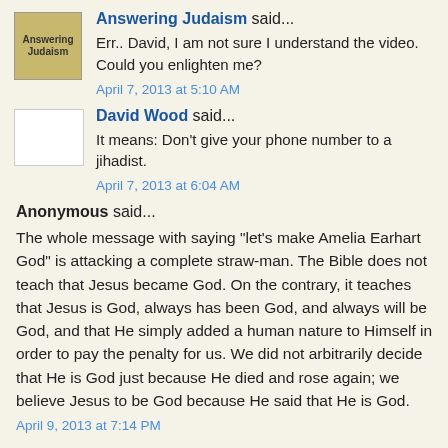Answering Judaism said...
Err.. David, I am not sure I understand the video. Could you enlighten me?
April 7, 2013 at 5:10 AM
David Wood said...
It means: Don't give your phone number to a jihadist.
April 7, 2013 at 6:04 AM
Anonymous said...
The whole message with saying "let's make Amelia Earhart God" is attacking a complete straw-man. The Bible does not teach that Jesus became God. On the contrary, it teaches that Jesus is God, always has been God, and always will be God, and that He simply added a human nature to Himself in order to pay the penalty for us. We did not arbitrarily decide that He is God just because He died and rose again; we believe Jesus to be God because He said that He is God.
April 9, 2013 at 7:14 PM